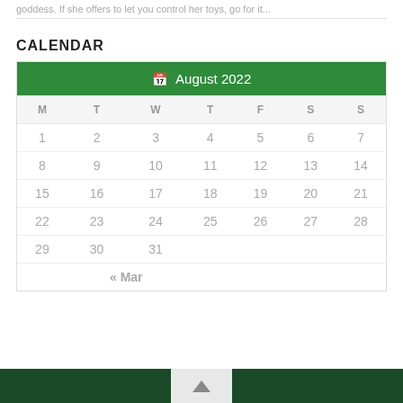goddess. If she offers to let you control her toys, go for it...
CALENDAR
| M | T | W | T | F | S | S |
| --- | --- | --- | --- | --- | --- | --- |
| 1 | 2 | 3 | 4 | 5 | 6 | 7 |
| 8 | 9 | 10 | 11 | 12 | 13 | 14 |
| 15 | 16 | 17 | 18 | 19 | 20 | 21 |
| 22 | 23 | 24 | 25 | 26 | 27 | 28 |
| 29 | 30 | 31 |  |  |  |  |
|  | « Mar |  |  |  |  |  |